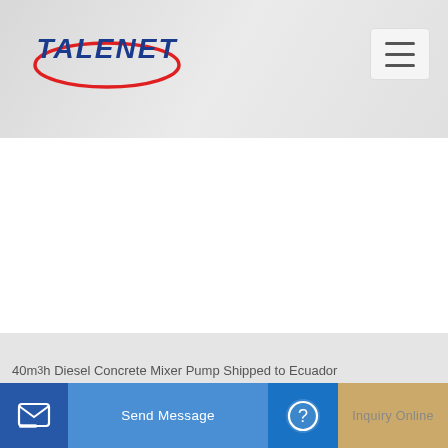TALENET
Related Products
Beiben V3 35m -51m Mini Concrete Pump Truck Truck Mounted
bottom price top sell diesel concrete mixer machine
40m³ h Diesel Concrete Mixer Pump Shipped to Ecuador
Send Message
Inquiry Online